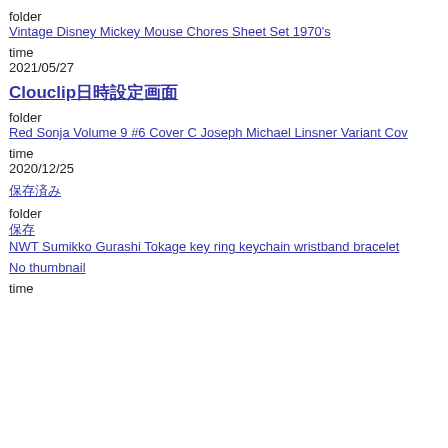folder
Vintage Disney Mickey Mouse Chores Sheet Set 1970's
time
2021/05/27
Clouclip日時設定画面
folder
Red Sonja Volume 9 #6 Cover C Joseph Michael Linsner Variant Cov
time
2020/12/25
保存済み
folder
保存
NWT Sumikko Gurashi Tokage key ring keychain wristband bracelet
No thumbnail
time